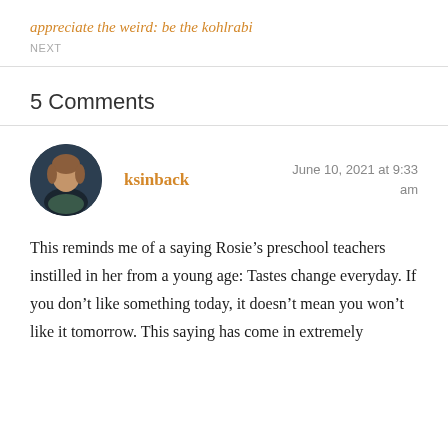appreciate the weird: be the kohlrabi
NEXT
5 Comments
ksinback
June 10, 2021 at 9:33 am
This reminds me of a saying Rosie’s preschool teachers instilled in her from a young age: Tastes change everyday. If you don’t like something today, it doesn’t mean you won’t like it tomorrow. This saying has come in extremely